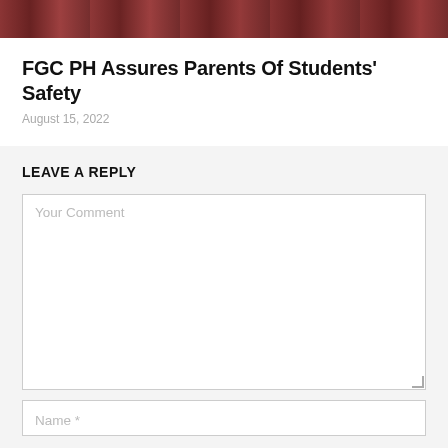[Figure (photo): Partial image strip at top of page showing a reddish-brown scene]
FGC PH Assures Parents Of Students' Safety
August 15, 2022
LEAVE A REPLY